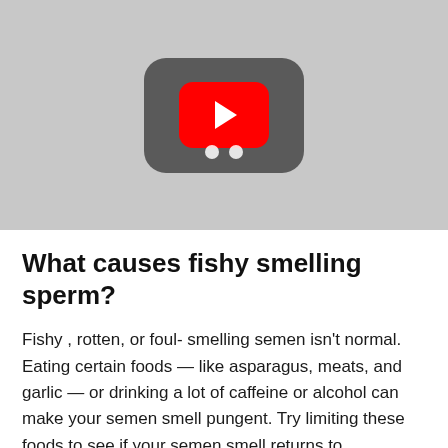[Figure (screenshot): YouTube video thumbnail placeholder showing a grey rounded rectangle with a red YouTube play button in the center and two white dots below it, on a light grey background.]
What causes fishy smelling sperm?
Fishy , rotten, or foul- smelling semen isn't normal. Eating certain foods — like asparagus, meats, and garlic — or drinking a lot of caffeine or alcohol can make your semen smell pungent. Try limiting these foods to see if your semen smell returns to